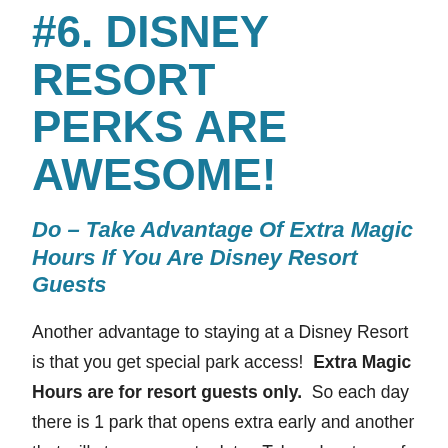#6. DISNEY RESORT PERKS ARE AWESOME!
Do – Take Advantage Of Extra Magic Hours If You Are Disney Resort Guests
Another advantage to staying at a Disney Resort is that you get special park access!  Extra Magic Hours are for resort guests only.  So each day there is 1 park that opens extra early and another that will stay open extra late.  Take advantage of these hours because the parks are not very crowded during these times, which makes it great to get in a bunch of your favorite rides in a short amount of time.  For example, during the summer months the Magic Kingdom may